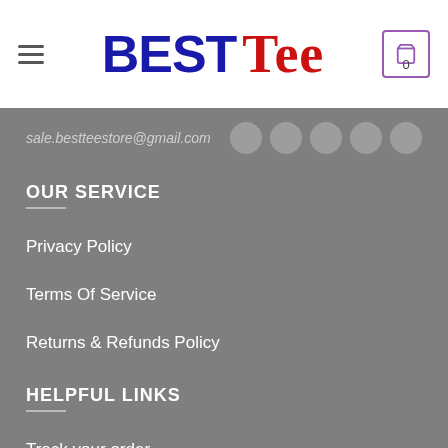[Figure (logo): Best Tee logo with BEST in dark blue bold and Tee in red cursive script]
sale.bestteestore@gmail.com
OUR SERVICE
Privacy Policy
Terms Of Service
Returns & Refunds Policy
HELPFUL LINKS
Track your order
Shipping Policy
Terms and Conditions